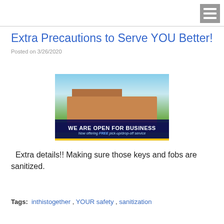Extra Precautions to Serve YOU Better!
Posted on 3/26/2020
[Figure (photo): Photo of a car service business building with text overlay: 'WE ARE OPEN FOR BUSINESS' and 'Now offering FREE pick-up/drop-off service']
Extra details!! Making sure those keys and fobs are sanitized.
Tags: inthistogether , YOUR safety , sanitization